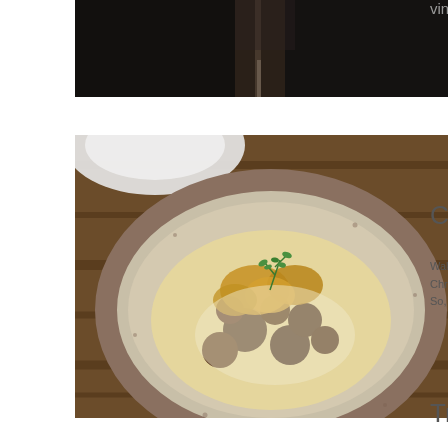[Figure (photo): Top portion of a dark atmospheric photo showing what appears to be a wine glass stem against a dark background]
vintage co...
[Figure (photo): Overhead view of a rustic ceramic bowl containing roasted cauliflower and mushrooms garnished with fresh thyme, on a wooden surface with a white bowl partially visible]
Christma...
Waking up...
Christmas...
So, start th...
Treasure...